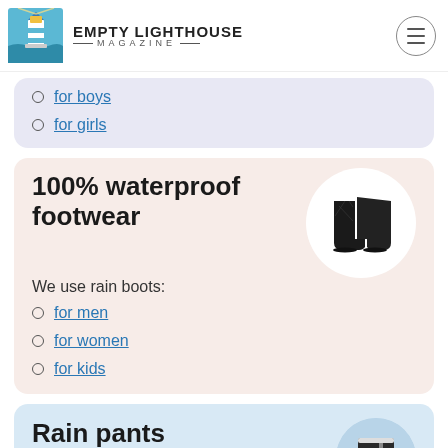EMPTY LIGHTHOUSE MAGAZINE
for boys
for girls
100% waterproof footwear
We use rain boots:
for men
for women
for kids
[Figure (photo): Black quilted rain boots on white circular background]
Rain pants
[Figure (photo): Person wearing dark rain pants, partially visible in circular frame]